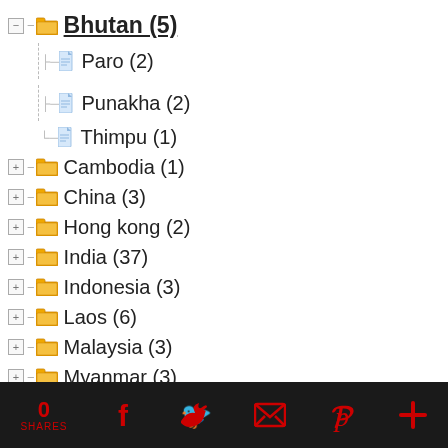Bhutan (5)
Paro (2)
Punakha (2)
Thimpu (1)
Cambodia (1)
China (3)
Hong kong (2)
India (37)
Indonesia (3)
Laos (6)
Malaysia (3)
Myanmar (3)
0 SHARES